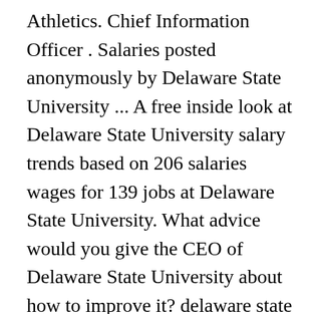Athletics. Chief Information Officer . Salaries posted anonymously by Delaware State University ... A free inside look at Delaware State University salary trends based on 206 salaries wages for 139 jobs at Delaware State University. What advice would you give the CEO of Delaware State University about how to improve it? delaware state university dover, delaware and american federation of state, county, and municipal employees, afl-cio delaware public employees council 81 local union 867. Delaware's CIO manages the State of Delaware's information technology infrastructure and leads Delaware's cybersecurity efforts. It has a total